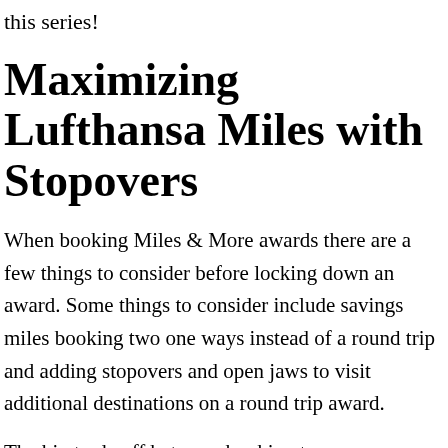this series!
Maximizing Lufthansa Miles with Stopovers
When booking Miles & More awards there are a few things to consider before locking down an award. Some things to consider include savings miles booking two one ways instead of a round trip and adding stopovers and open jaws to visit additional destinations on a round trip award.
The big trade off between booking two one ways or one round trip award include the option for stopovers you get with a round trip award. Both methods will get to you a round trip